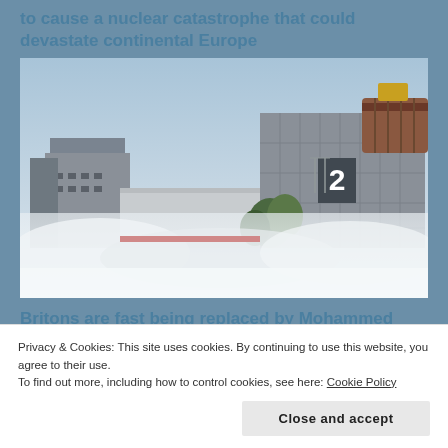to cause a nuclear catastrophe that could devastate continental Europe
[Figure (photo): Photograph of a nuclear power plant building with industrial structures and mist/fog in the foreground. A large building marked with the number 2 is visible on the right, with a dome-shaped structure behind it. Misty conditions near ground level.]
Britons are fast being replaced by Mohammed and other non-Europeans
Privacy & Cookies: This site uses cookies. By continuing to use this website, you agree to their use.
To find out more, including how to control cookies, see here: Cookie Policy
Close and accept